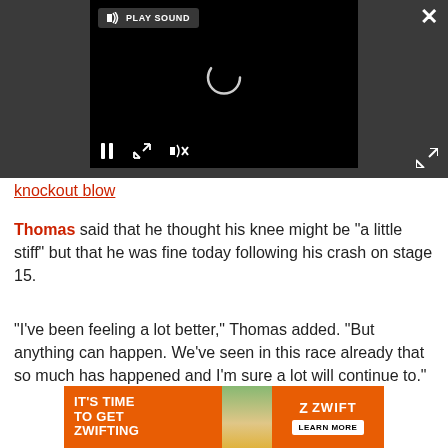[Figure (screenshot): Embedded video player in dark gray background showing a loading spinner, pause button, fullscreen button, and mute button. A 'PLAY SOUND' button is shown at the top left. A close (X) button is at top right and an expand arrow at bottom right.]
knockout blow
Thomas said that he thought his knee might be "a little stiff" but that he was fine today following his crash on stage 15.
"I've been feeling a lot better," Thomas added. "But anything can happen. We've seen in this race already that so much has happened and I'm sure a lot will continue to."
[Figure (infographic): Zwift advertisement banner: orange background with 'IT'S TIME TO GET ZWIFTING' text on left, cycling photo in middle, and Zwift logo with 'LEARN MORE' button on right.]